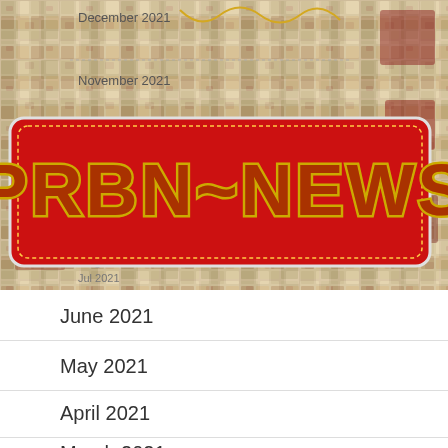[Figure (illustration): Mosaic tile background banner with PRBN-NEWS red sign logo in center. Overlaid text labels: December 2021, November 2021, October 2021, September 2021, August 2021, Jul 2021]
June 2021
May 2021
April 2021
March 2021